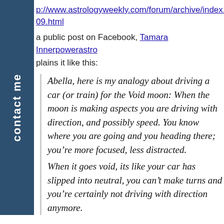http://www.astrologyweekly.com/forum/archive/index.php/...09.html
a public post on Facebook, Tamara Innerpowerastro explains it like this:
Abella, here is my analogy about driving a car (or train) for the Void moon: When the moon is making aspects you are driving with direction, and possibly speed. You know where you are going and you heading there; you’re more focused, less distracted.
When it goes void, its like your car has slipped into neutral, you can’t make turns and you’re certainly not driving with direction anymore.